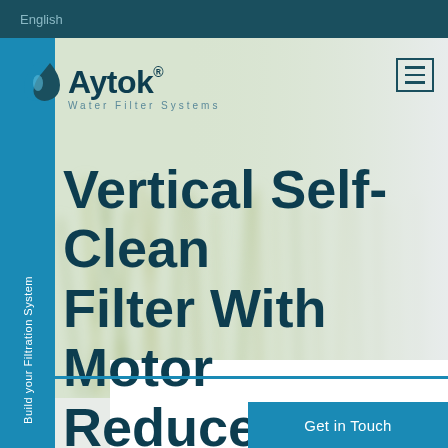English
[Figure (logo): Aytok Water Filter Systems logo with blue water drop icon and dark teal text]
Vertical Self-Clean Filter With Motor Reducer - VRFL
Build your Filtration System
Get in Touch